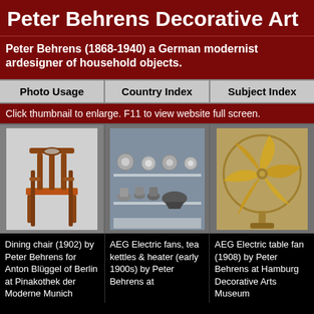Peter Behrens Decorative Art
Peter Behrens (1868-1940) a German modernist architect and designer of household objects.
| Photo Usage | Country Index | Subject Index |
| --- | --- | --- |
Click thumbnail to enlarge. F11 to view website full screen.
[Figure (photo): Dining chair (1902) by Peter Behrens for Anton Blüggel of Berlin at Pinakothek der Moderne, Munich]
[Figure (photo): AEG Electric fans, tea kettles & heater (early 1900s) by Peter Behrens at Hamburg Decorative Arts Museum]
[Figure (photo): AEG Electric table fan (1908) by Peter Behrens at Hamburg Decorative Arts Museum]
Dining chair (1902) by Peter Behrens for Anton Blüggel of Berlin at Pinakothek der Moderne Munich
AEG Electric fans, tea kettles & heater (early 1900s) by Peter Behrens at Hamburg
AEG Electric table fan (1908) by Peter Behrens at Hamburg Decorative Arts Museum